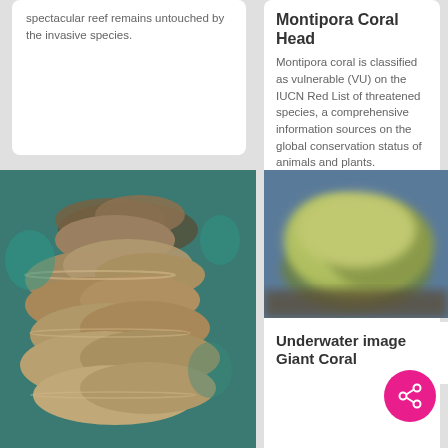spectacular reef remains untouched by the invasive species.
Montipora Coral Head
Montipora coral is classified as vulnerable (VU) on the IUCN Red List of threatened species, a comprehensive information sources on the global conservation status of animals and plants. Increasing water tempera... More
[Figure (photo): Underwater photograph of Montipora coral colony showing layered, plate-like brown coral formations against a teal/blue background]
[Figure (photo): Blurred underwater image of a large green/yellow coral head, possibly giant coral, against a blue background]
Underwater image Giant Coral